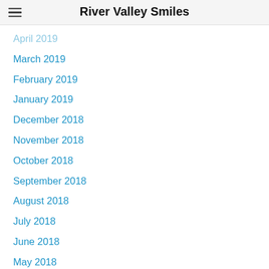River Valley Smiles
April 2019
March 2019
February 2019
January 2019
December 2018
November 2018
October 2018
September 2018
August 2018
July 2018
June 2018
May 2018
April 2018
March 2018